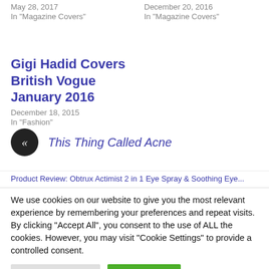May 28, 2017
In "Magazine Covers"
December 20, 2016
In "Magazine Covers"
Gigi Hadid Covers British Vogue January 2016
December 18, 2015
In "Fashion"
« This Thing Called Acne
Product Review: Obtrux Actimist 2 in 1 Eye Spray & Soothing Eye...
We use cookies on our website to give you the most relevant experience by remembering your preferences and repeat visits. By clicking "Accept All", you consent to the use of ALL the cookies. However, you may visit "Cookie Settings" to provide a controlled consent.